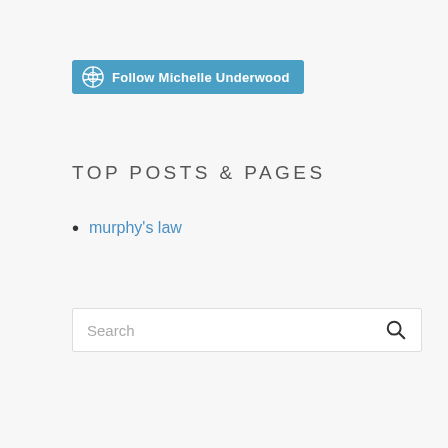[Figure (other): WordPress Follow button with 'Follow Michelle Underwood' text on a blue background with WordPress logo icon]
TOP POSTS & PAGES
murphy's law
Search